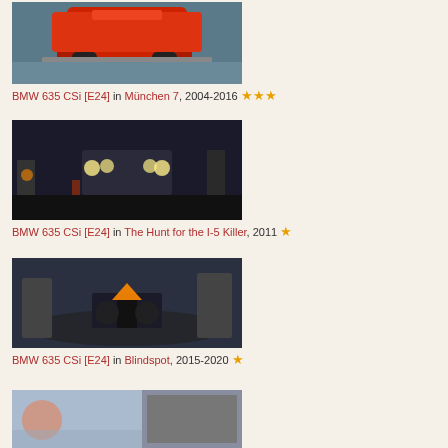[Figure (photo): Red BMW 635 CSi car photographed from above/rear angle]
BMW 635 CSi [E24] in München 7, 2004-2016 ★★★
[Figure (photo): Night scene with cars on road and two people standing]
BMW 635 CSi [E24] in The Hunt for the I-5 Killer, 2011 ★
[Figure (photo): Dark scene showing a person on ground with fire/explosion]
BMW 635 CSi [E24] in Blindspot, 2015-2020 ★
[Figure (photo): Partial view of a scene with woman and building/wall]